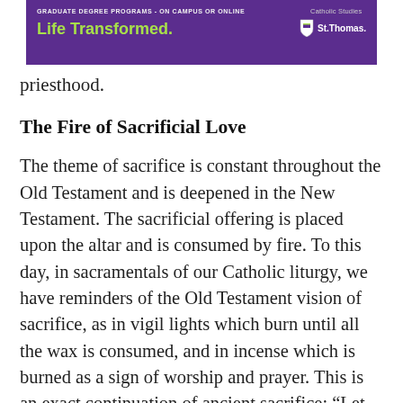[Figure (other): Advertisement banner for University of St. Thomas Graduate Degree Programs - On Campus or Online. Purple background with green text 'Life Transformed.' and Catholic Studies | St. Thomas logo.]
priesthood.
The Fire of Sacrificial Love
The theme of sacrifice is constant throughout the Old Testament and is deepened in the New Testament. The sacrificial offering is placed upon the altar and is consumed by fire. To this day, in sacramentals of our Catholic liturgy, we have reminders of the Old Testament vision of sacrifice, as in vigil lights which burn until all the wax is consumed, and in incense which is burned as a sign of worship and prayer. This is an exact continuation of ancient sacrifice: “Let my prayers rise as incense before you, O Lord” (Psalm